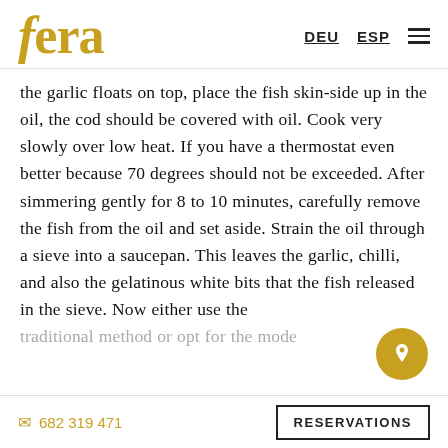fera | DEU ESP ☰
the garlic floats on top, place the fish skin-side up in the oil, the cod should be covered with oil. Cook very slowly over low heat. If you have a thermostat even better because 70 degrees should not be exceeded. After simmering gently for 8 to 10 minutes, carefully remove the fish from the oil and set aside. Strain the oil through a sieve into a saucepan. This leaves the garlic, chilli, and also the gelatinous white bits that the fish released in the sieve. Now either use the traditional method or opt for the mode...
📱 682 319 471   RESERVATIONS